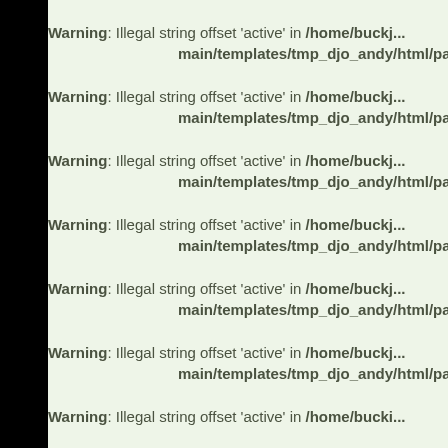Warning: Illegal string offset 'active' in /home/buckj.../main/templates/tmp_djo_andy/html/pagi...
Warning: Illegal string offset 'active' in /home/buckj.../main/templates/tmp_djo_andy/html/pagi...
Warning: Illegal string offset 'active' in /home/buckj.../main/templates/tmp_djo_andy/html/pagi...
Warning: Illegal string offset 'active' in /home/buckj.../main/templates/tmp_djo_andy/html/pagi...
Warning: Illegal string offset 'active' in /home/buckj.../main/templates/tmp_djo_andy/html/pagi...
Warning: Illegal string offset 'active' in /home/buckj.../main/templates/tmp_djo_andy/html/pagi...
Warning: Illegal string offset 'active' in /home/buckj...